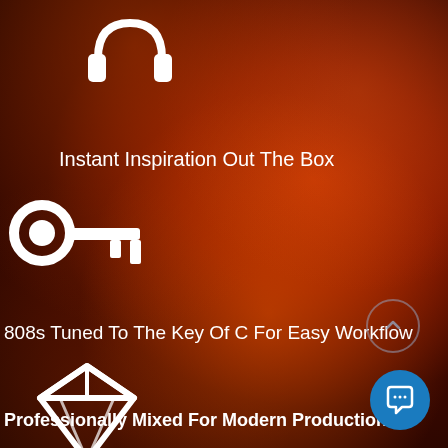[Figure (illustration): White headphones icon at top left]
Instant Inspiration Out The Box
[Figure (illustration): White key icon in middle left]
808s Tuned To The Key Of C For Easy Workflow
[Figure (illustration): White diamond/gem icon at bottom left]
Professionally Mixed For Modern Production